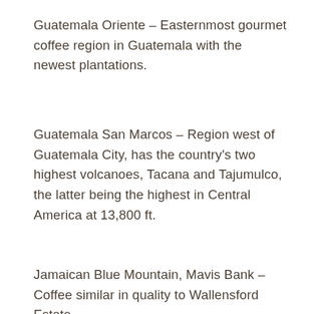Guatemala Oriente – Easternmost gourmet coffee region in Guatemala with the newest plantations.
Guatemala San Marcos – Region west of Guatemala City, has the country's two highest volcanoes, Tacana and Tajumulco, the latter being the highest in Central America at 13,800 ft.
Jamaican Blue Mountain, Mavis Bank – Coffee similar in quality to Wallensford Estate.